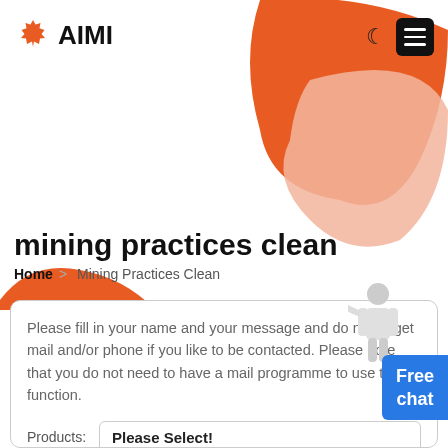AIMI
mining practices clean
Home > Mining Practices Clean
Free chat
Please fill in your name and your message and do not forget mail and/or phone if you like to be contacted. Please note that you do not need to have a mail programme to use this function.
Products: Please Select!